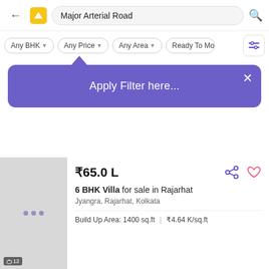Major Arterial Road
Any BHK | Any Price | Any Area | Ready To Move
Apply Filter here...
₹65.0 L
6 BHK Villa for sale in Rajarhat
Jyangra, Rajarhat, Kolkata
Build Up Area: 1400 sq.ft  |  ₹4.64 K/sq.ft